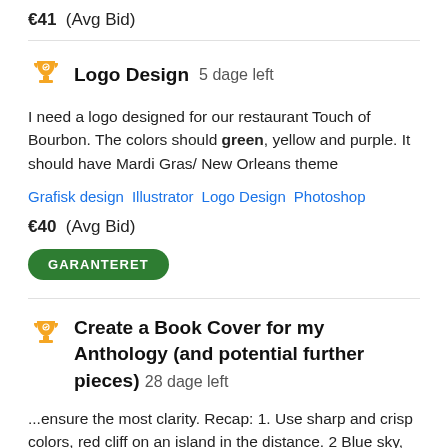€41  (Avg Bid)
Logo Design  5 dage left
I need a logo designed for our restaurant Touch of Bourbon. The colors should green, yellow and purple. It should have Mardi Gras/ New Orleans theme
Grafisk design   Illustrator   Logo Design   Photoshop
€40  (Avg Bid)
GARANTERET
Create a Book Cover for my Anthology (and potential further pieces)  28 dage left
...ensure the most clarity. Recap: 1. Use sharp and crisp colors, red cliff on an island in the distance. 2 Blue sky,